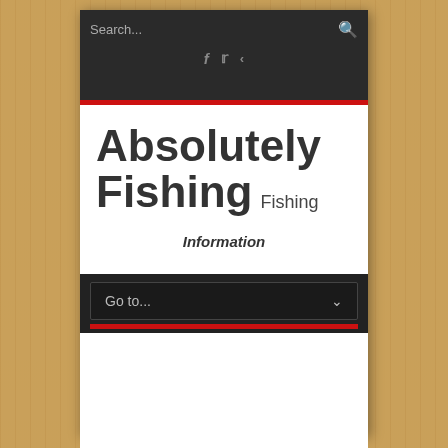[Figure (screenshot): Mobile website screenshot of 'Absolutely Fishing' shown on a wood-textured background. Dark top navigation bar with search field and social icons (Facebook, Twitter, share). Red stripe separator. Large bold title 'Absolutely Fishing' with 'Fishing' label. 'Information' subtitle. Dark dropdown navigation bar with 'Go to...' selector and red stripe.]
Absolutely Fishing
Fishing
Information
Go to...